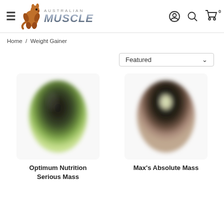[Figure (logo): Australian Muscle logo with kangaroo mascot and styled text]
Home  /  Weight Gainer
Featured
[Figure (photo): Optimum Nutrition Serious Mass supplement container, blurred product photo]
[Figure (photo): Max's Absolute Mass supplement container, blurred product photo]
Optimum Nutrition Serious Mass
Max's Absolute Mass